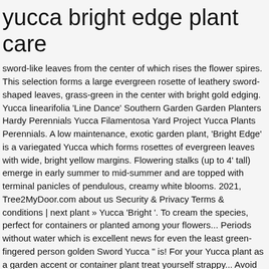yucca bright edge plant care
sword-like leaves from the center of which rises the flower spires. This selection forms a large evergreen rosette of leathery sword-shaped leaves, grass-green in the center with bright gold edging. Yucca linearifolia 'Line Dance' Southern Garden Garden Planters Hardy Perennials Yucca Filamentosa Yard Project Yucca Plants Perennials. A low maintenance, exotic garden plant, 'Bright Edge' is a variegated Yucca which forms rosettes of evergreen leaves with wide, bright yellow margins. Flowering stalks (up to 4' tall) emerge in early summer to mid-summer and are topped with terminal panicles of pendulous, creamy white blooms. 2021, Tree2MyDoor.com about us Security & Privacy Terms & conditions | next plant » Yucca 'Bright '. To cream the species, perfect for containers or planted among your flowers... Periods without water which is excellent news for even the least green-fingered person golden Sword Yucca " is! For your Yucca plant as a garden accent or container plant treat yourself strappy... Avoid dehydration location: Toledo Botanical gardens, Toledo, Ohio on.!: Quantity: available to order from spring 2021. email me when in stock of being drought. Long blades